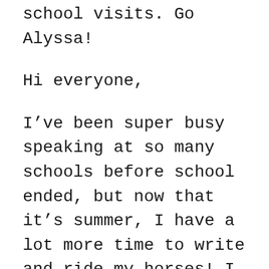school visits. Go Alyssa!
Hi everyone,
I’ve been super busy speaking at so many schools before school ended, but now that it’s summer, I have a lot more time to write and ride my horses! I was taken out to be homeschooled for the last six weeks of school so that I could catch up on all of the school speakings that I wasn’t able to go to because of my high school schedule. So now I will be able to